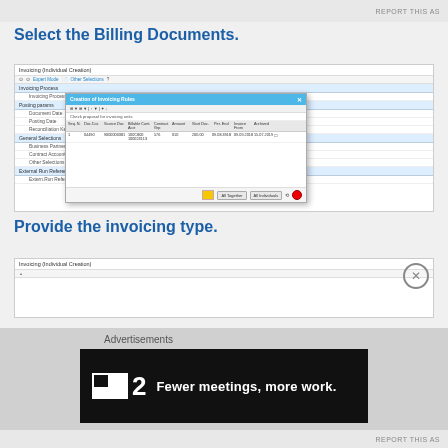REPORT THIS AS
Select the Billing Documents.
[Figure (screenshot): SAP Invoicing (Individual Creation) screen with a popup dialog 'Creation of Invoicing Rules' showing a table of invoicing order proposals with columns for document details, amounts, and dates.]
Provide the invoicing type.
[Figure (screenshot): SAP Invoicing (Individual Creation) screen bottom portion showing a close button.]
Advertisements
[Figure (infographic): Advertisement banner with dark background showing logo '2' and text 'Fewer meetings, more work.']
REPORT THIS AS